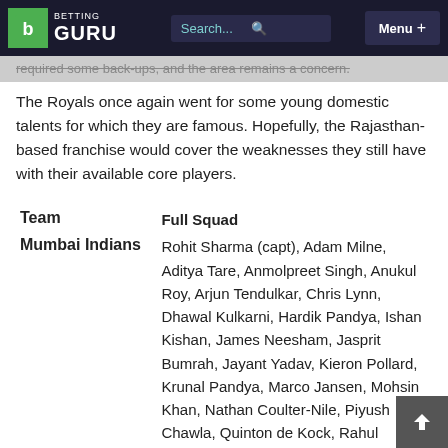BETTING GURU | Search... | Menu +
required some back-ups, and the area remains a concern.
The Royals once again went for some young domestic talents for which they are famous. Hopefully, the Rajasthan-based franchise would cover the weaknesses they still have with their available core players.
| Team | Full Squad |
| --- | --- |
| Mumbai Indians | Rohit Sharma (capt), Adam Milne, Aditya Tare, Anmolpreet Singh, Anukul Roy, Arjun Tendulkar, Chris Lynn, Dhawal Kulkarni, Hardik Pandya, Ishan Kishan, James Neesham, Jasprit Bumrah, Jayant Yadav, Kieron Pollard, Krunal Pandya, Marco Jansen, Mohsin Khan, Nathan Coulter-Nile, Piyush Chawla, Quinton de Kock, Rahul |